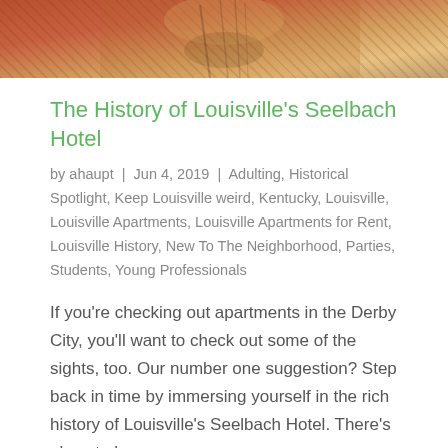[Figure (photo): Cropped photo showing a person with blond/red hair and a necklace, with warm orange/red lighting in the background.]
The History of Louisville’s Seelbach Hotel
by ahaupt | Jun 4, 2019 | Adulting, Historical Spotlight, Keep Louisville weird, Kentucky, Louisville, Louisville Apartments, Louisville Apartments for Rent, Louisville History, New To The Neighborhood, Parties, Students, Young Professionals
If you’re checking out apartments in the Derby City, you’ll want to check out some of the sights, too. Our number one suggestion? Step back in time by immersing yourself in the rich history of Louisville’s Seelbach Hotel. There’s almost always…